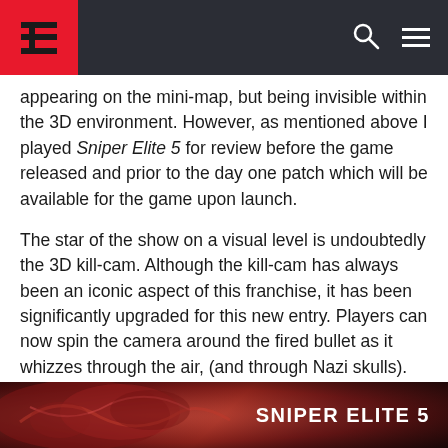Thumb Culture header with logo, search and menu icons
appearing on the mini-map, but being invisible within the 3D environment. However, as mentioned above I played Sniper Elite 5 for review before the game released and prior to the day one patch which will be available for the game upon launch.
The star of the show on a visual level is undoubtedly the 3D kill-cam. Although the kill-cam has always been an iconic aspect of this franchise, it has been significantly upgraded for this new entry. Players can now spin the camera around the fired bullet as it whizzes through the air, (and through Nazi skulls).
[Figure (photo): Sniper Elite 5 game screenshot showing visceral imagery with the game title SNIPER ELITE 5 displayed on the right side]